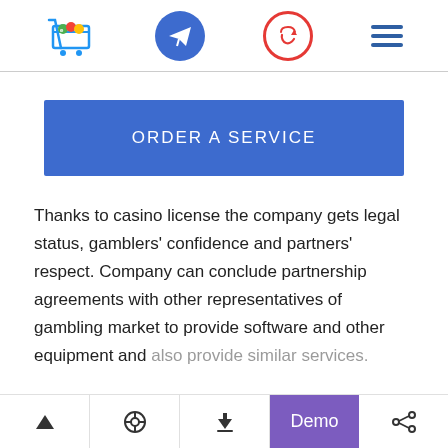[Figure (logo): Shopping cart logo icon with colorful items]
[Figure (illustration): Blue filled circle with white paper plane (Telegram icon)]
[Figure (illustration): Red outlined circle with phone callback arrow icon]
[Figure (illustration): Blue hamburger menu icon (three horizontal lines)]
ORDER A SERVICE
Thanks to casino license the company gets legal status, gamblers' confidence and partners' respect. Company can conclude partnership agreements with other representatives of gambling market to provide software and other equipment and also provide similar services.
^ [settings] [download] Demo [share]